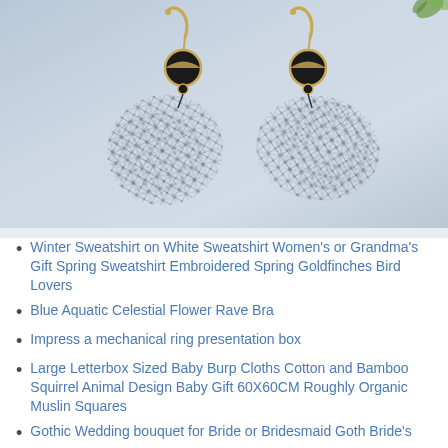[Figure (photo): Product photo of two black lace/netting drop earrings with gold hooks and black circular disc connectors, displayed on a light blue-gray background with a small green plant visible in the top right corner.]
Winter Sweatshirt on White Sweatshirt Women's or Grandma's Gift Spring Sweatshirt Embroidered Spring Goldfinches Bird Lovers
Blue Aquatic Celestial Flower Rave Bra
Impress a mechanical ring presentation box
Large Letterbox Sized Baby Burp Cloths Cotton and Bamboo Squirrel Animal Design Baby Gift 60X60CM Roughly Organic Muslin Squares
Gothic Wedding bouquet for Bride or Bridesmaid Goth Bride's